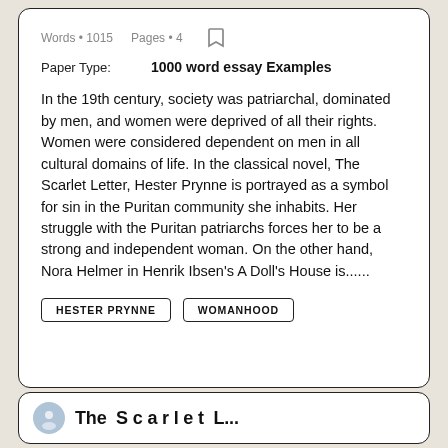Words • 1015   Pages • 4
Paper Type:   1000 word essay Examples
In the 19th century, society was patriarchal, dominated by men, and women were deprived of all their rights. Women were considered dependent on men in all cultural domains of life. In the classical novel, The Scarlet Letter, Hester Prynne is portrayed as a symbol for sin in the Puritan community she inhabits. Her struggle with the Puritan patriarchs forces her to be a strong and independent woman. On the other hand, Nora Helmer in Henrik Ibsen's A Doll's House is......
HESTER PRYNNE
WOMANHOOD